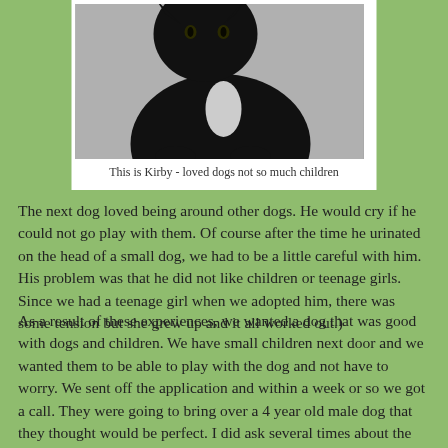[Figure (photo): Black cat sitting, viewed from the front, with a white chest patch, against a light gray background]
This is Kirby - loved dogs not so much children
The next dog loved being around other dogs. He would cry if he could not go play with them. Of course after the time he urinated on the head of a small dog, we had to be a little careful with him. His problem was that he did not like children or teenage girls. Since we had a teenage girl when we adopted him, there was some tension but she grew up and it all worked out.)
As a result of these experiences, we wanted a dog that was good with dogs and children. We have small children next door and we wanted them to be able to play with the dog and not have to worry. We sent off the application and within a week or so we got a call. They were going to bring over a 4 year old male dog that they thought would be perfect. I did ask several times about the dog getting along with children and stressed that it was important. I thought that the answers were a bit vague but I didn't push it more.